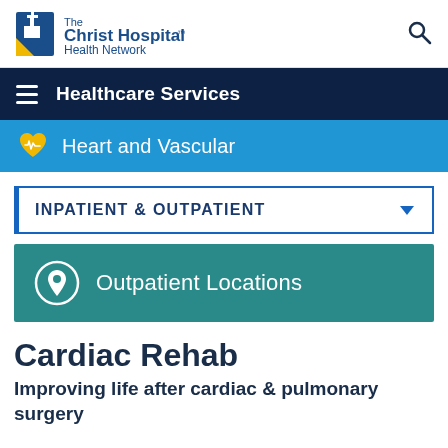The Christ Hospital Health Network
Healthcare Services
Heart and Vascular
INPATIENT & OUTPATIENT
Outpatient Locations
Cardiac Rehab
Improving life after cardiac & pulmonary surgery